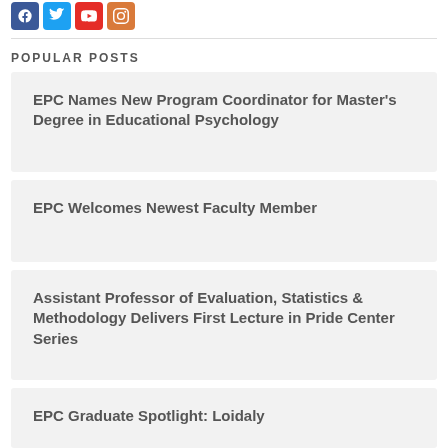[Figure (other): Social media icon buttons: Facebook (blue), Twitter (light blue), YouTube (red), Instagram (orange)]
POPULAR POSTS
EPC Names New Program Coordinator for Master's Degree in Educational Psychology
EPC Welcomes Newest Faculty Member
Assistant Professor of Evaluation, Statistics & Methodology Delivers First Lecture in Pride Center Series
EPC Graduate Spotlight: Loidaly